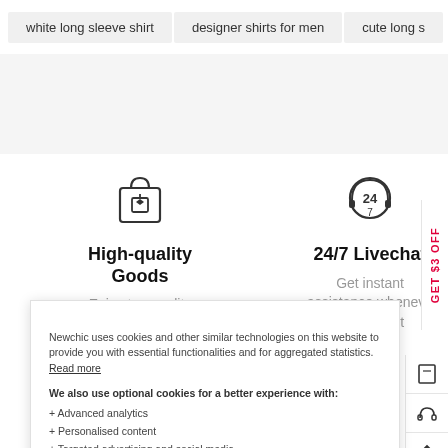white long sleeve shirt
designer shirts for men
cute long s
[Figure (illustration): Shopping bag icon with a tag/label inside]
High-quality Goods
Enjoy top quality items for less
[Figure (illustration): 24/7 clock/headset icon]
24/7 Livechat
Get instant assistance whenever you need it
GET $3 OFF
CUSTOMER SERVICE
ler
FAQ
Q
Methods
Methods
ches
Newchic uses cookies and other similar technologies on this website to provide you with essential functionalities and for aggregated statistics.  Read more
We also use optional cookies for a better experience with:
+ Advanced analytics
+ Personalised content
+ Targeted advertising and social media
If you accept, we might share cookie data with third parties.
If you do not agree with the current setting, you can click "cookie setting" to customize the cookie.
Cookie Settings
Agree now